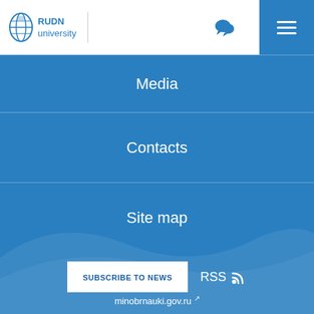[Figure (logo): RUDN University logo with globe icon and text 'RUDN university']
Media
Contacts
Site map
SUBSCRIBE TO NEWS
RSS
minobrnauki.gov.ru